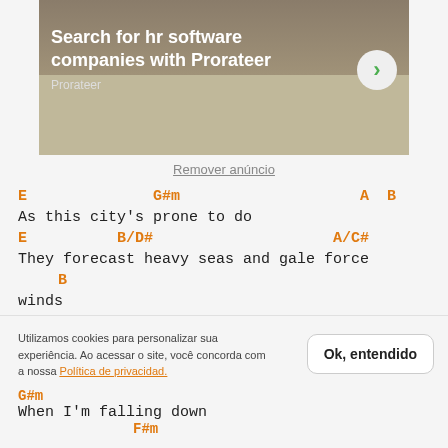[Figure (screenshot): Ad banner for Prorateer HR software with photo of person using tablet, bold white text and arrow button]
Remover anúncio
E		G#m				A  B
As this city's prone to do
E		B/D#				A/C#
They forecast heavy seas and gale force
		B
winds
Utilizamos cookies para personalizar sua experiência. Ao acessar o site, você concorda com a nossa Política de privacidad.
Ok, entendido
G#m
When I'm falling down
			F#m